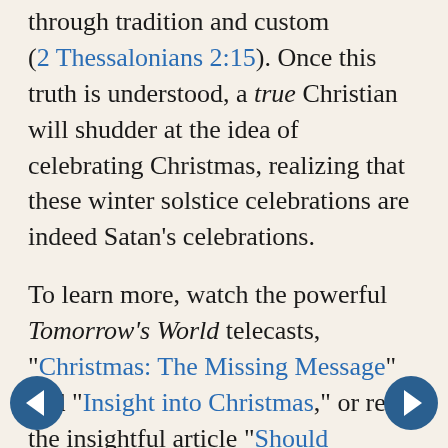through tradition and custom (2 Thessalonians 2:15). Once this truth is understood, a true Christian will shudder at the idea of celebrating Christmas, realizing that these winter solstice celebrations are indeed Satan's celebrations.
To learn more, watch the powerful Tomorrow's World telecasts, "Christmas: The Missing Message" and "Insight into Christmas," or read the insightful article "Should Christians Keep Christmas?" (Note: The Plain Truth has no connections with this